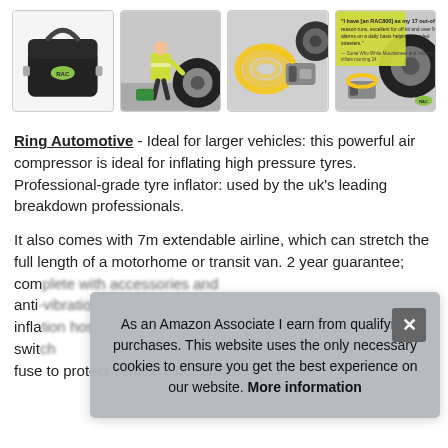[Figure (photo): Four product images: a black carry bag (Ring Automotive), a person in high-vis jacket inflating a tyre, a yellow coiled air hose and compressor, and a compressor next to a tyre with a yellow testimonial overlay.]
Ring Automotive - Ideal for larger vehicles: this powerful air compressor is ideal for inflating high pressure tyres. Professional-grade tyre inflator: used by the uk's leading breakdown professionals.
It also comes with 7m extendable airline, which can stretch the full length of a motorhome or transit van. 2 year guarantee; com[plete with] anti[…] infla[…] swit[…] fuse to protect vehicle electronics.
As an Amazon Associate I earn from qualifying purchases. This website uses the only necessary cookies to ensure you get the best experience on our website. More information